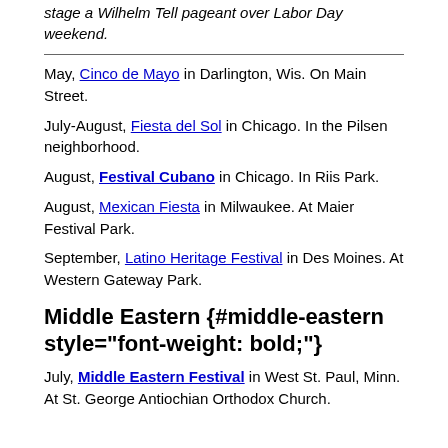stage a Wilhelm Tell pageant over Labor Day weekend.
May, Cinco de Mayo in Darlington, Wis. On Main Street.
July-August, Fiesta del Sol in Chicago. In the Pilsen neighborhood.
August, Festival Cubano in Chicago. In Riis Park.
August, Mexican Fiesta in Milwaukee. At Maier Festival Park.
September, Latino Heritage Festival in Des Moines. At Western Gateway Park.
Middle Eastern {#middle-eastern style="font-weight: bold;"}
July, Middle Eastern Festival in West St. Paul, Minn. At St. George Antiochian Orthodox Church.